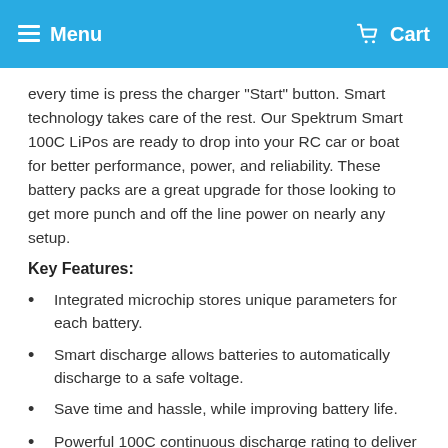Menu  Cart
every time is press the charger "Start" button. Smart technology takes care of the rest. Our Spektrum Smart 100C LiPos are ready to drop into your RC car or boat for better performance, power, and reliability. These battery packs are a great upgrade for those looking to get more punch and off the line power on nearly any setup.
Key Features:
Integrated microchip stores unique parameters for each battery.
Smart discharge allows batteries to automatically discharge to a safe voltage.
Save time and hassle, while improving battery life.
Powerful 100C continuous discharge rating to deliver high performance and longevity.
Impact resistant ABS plastic hardcase.
No soldering required, equipped with IC3 and IC5